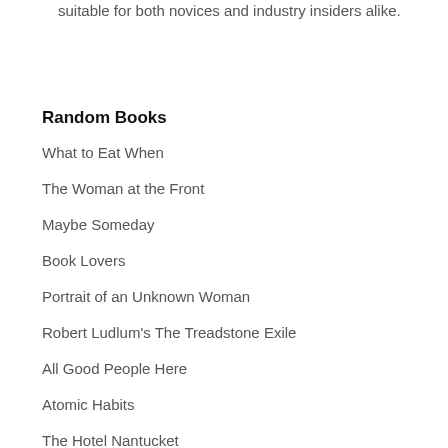suitable for both novices and industry insiders alike.
Random Books
What to Eat When
The Woman at the Front
Maybe Someday
Book Lovers
Portrait of an Unknown Woman
Robert Ludlum's The Treadstone Exile
All Good People Here
Atomic Habits
The Hotel Nantucket
In the Blood